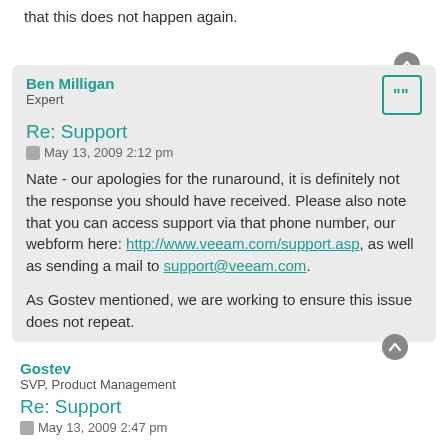that this does not happen again.
Ben Milligan
Expert
Re: Support
May 13, 2009 2:12 pm
Nate - our apologies for the runaround, it is definitely not the response you should have received. Please also note that you can access support via that phone number, our webform here: http://www.veeam.com/support.asp, as well as sending a mail to support@veeam.com.
As Gostev mentioned, we are working to ensure this issue does not repeat.
Gostev
SVP, Product Management
Re: Support
May 13, 2009 2:47 pm